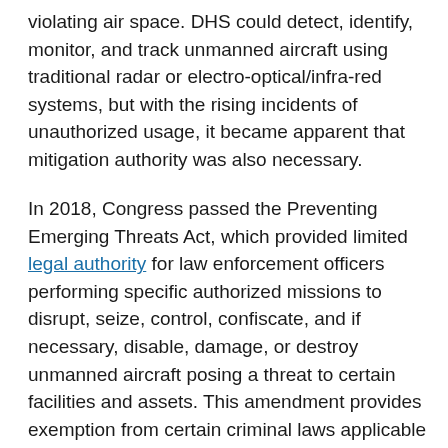violating air space. DHS could detect, identify, monitor, and track unmanned aircraft using traditional radar or electro-optical/infra-red systems, but with the rising incidents of unauthorized usage, it became apparent that mitigation authority was also necessary.
In 2018, Congress passed the Preventing Emerging Threats Act, which provided limited legal authority for law enforcement officers performing specific authorized missions to disrupt, seize, control, confiscate, and if necessary, disable, damage, or destroy unmanned aircraft posing a threat to certain facilities and assets. This amendment provides exemption from certain criminal laws applicable to electronic communications and to aircraft flight so the government can protect American citizens without violating legal, privacy or other civil rights and/or liberties.
Mitigation in Action